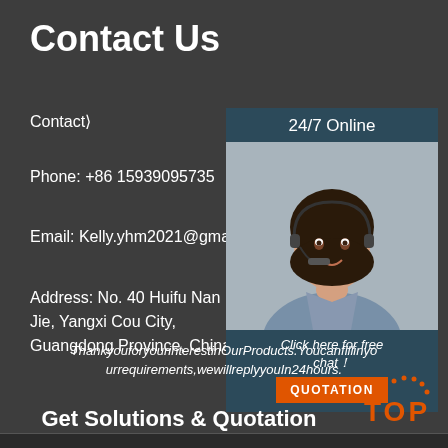Contact Us
Contact❘
Phone: +86 15939095735
Email: Kelly.yhm2021@gmail.com
Address: No. 40 Huifu Nan Jie, Yangxi Cou City, Guangdong Province, China
[Figure (photo): Customer service agent woman with headset smiling, with '24/7 Online' label above and 'Click here for free chat!' and QUOTATION button below]
ThankyouforyourinterestinOurProducts.YoucanfillinyourrequirementswewillreplyyouIn24hours.
Get Solutions & Quotation